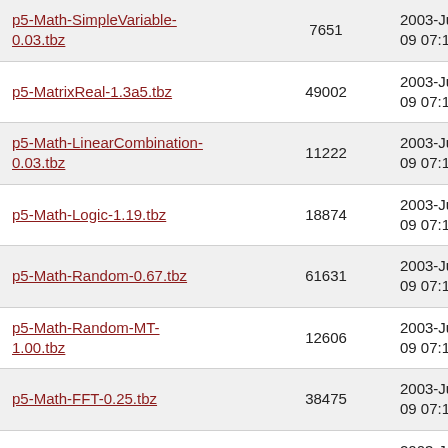| Name | Size | Date |
| --- | --- | --- |
| p5-Math-SimpleVariable-0.03.tbz | 7651 | 2003-Jun-09 07:12 |
| p5-MatrixReal-1.3a5.tbz | 49002 | 2003-Jun-09 07:12 |
| p5-Math-LinearCombination-0.03.tbz | 11222 | 2003-Jun-09 07:12 |
| p5-Math-Logic-1.19.tbz | 18874 | 2003-Jun-09 07:12 |
| p5-Math-Random-0.67.tbz | 61631 | 2003-Jun-09 07:12 |
| p5-Math-Random-MT-1.00.tbz | 12606 | 2003-Jun-09 07:12 |
| p5-Math-FFT-0.25.tbz | 38475 | 2003-Jun-09 07:12 |
| p5-Math-Financial-0.76.tbz | 12534 | 2003-Jun-09 07:12 |
| p5-Math-GMP-1.07.tbz | 17954 | 2003-Jun-09 07:12 |
| p5-Math-FixedPrecision-0.21.tbz | 8199 | 2003-Jun-09 07:12 |
| p5-Math-Interpolate-1.05.tbz | 13972 | 2003-Jun-09 07:12 |